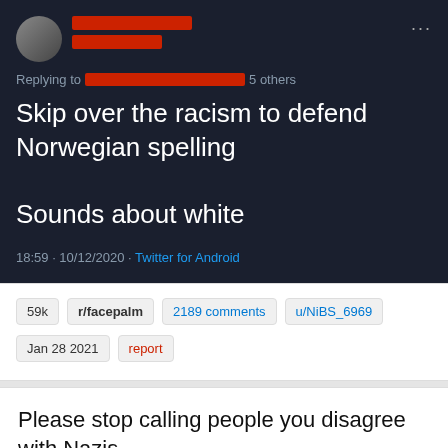[Figure (screenshot): Tweet screenshot on dark background. User avatar and name redacted with red bars. 'Replying to' line with redacted names and '5 others'. Tweet text: 'Skip over the racism to defend Norwegian spelling

Sounds about white'. Timestamp: 18:59 · 10/12/2020 · Twitter for Android.]
59k   r/facepalm   2189 comments   u/NiBS_6969
Jan 28 2021   report
Please stop calling people you disagree with Nazis